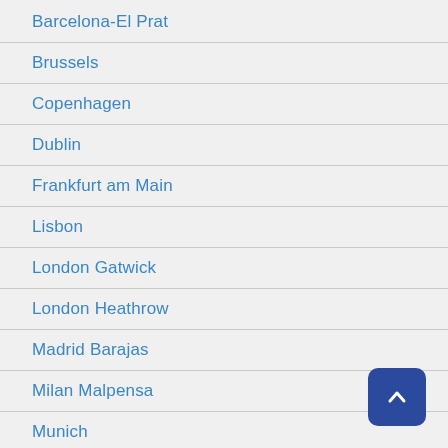Barcelona-El Prat
Brussels
Copenhagen
Dublin
Frankfurt am Main
Lisbon
London Gatwick
London Heathrow
Madrid Barajas
Milan Malpensa
Munich
Paris Charles de Gaulle